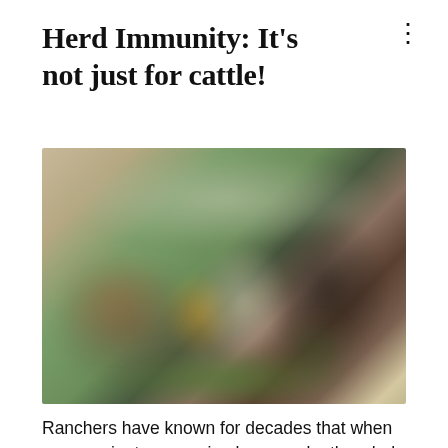Herd Immunity: It's not just for cattle!
[Figure (photo): Blurry outdoor photo of ranchers working with cattle in a grassy field. People are crouched near cattle, with a large dark cow visible on the right side.]
Ranchers have known for decades that when you vaccinate one animal, you make the whole herd healthier. When 95% of the herd has been